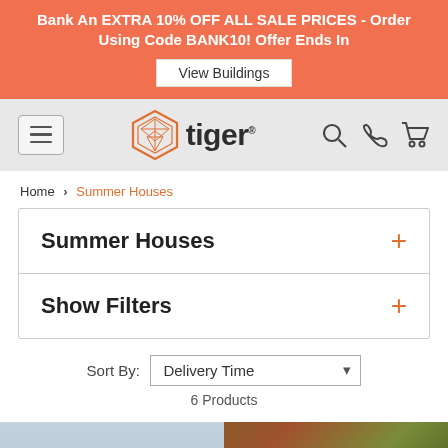Bank An EXTRA 10% OFF ALL SALE PRICES - Order Using Code BANK10! Offer Ends In — View Buildings
[Figure (logo): Tiger brand logo with hexagonal tiger head icon and wordmark 'tiger']
Home > Summer Houses
Summer Houses +
Show Filters +
Sort By: Delivery Time
6 Products
[Figure (photo): Partial view of a summer house building with brick and greenery]